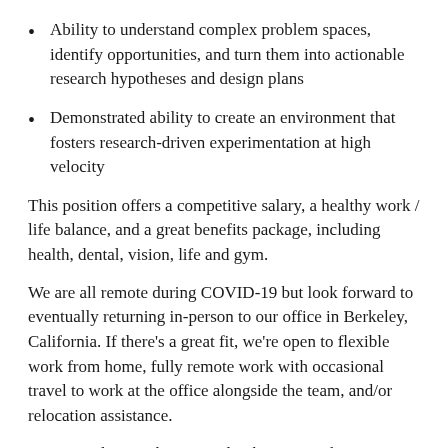Ability to understand complex problem spaces, identify opportunities, and turn them into actionable research hypotheses and design plans
Demonstrated ability to create an environment that fosters research-driven experimentation at high velocity
This position offers a competitive salary, a healthy work / life balance, and a great benefits package, including health, dental, vision, life and gym.
We are all remote during COVID-19 but look forward to eventually returning in-person to our office in Berkeley, California. If there’s a great fit, we’re open to flexible work from home, fully remote work with occasional travel to work at the office alongside the team, and/or relocation assistance.
*For Goodness Sake is proud to be an Equal Employment Opportunity employer that celebrates diversity. We are committed to providing equal employment opportunities to all employees and